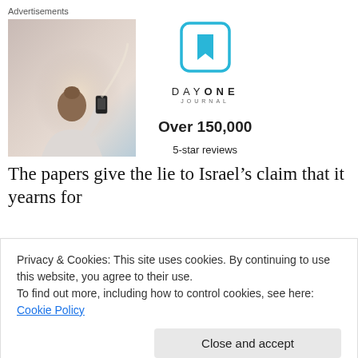Advertisements
[Figure (photo): Advertisement for Day One Journal app showing a person taking a photo outdoors with a bright sky background, alongside the Day One Journal logo, icon, and text 'Over 150,000 5-star reviews']
The papers give the lie to Israel's claim that it yearns for
Privacy & Cookies: This site uses cookies. By continuing to use this website, you agree to their use.
To find out more, including how to control cookies, see here: Cookie Policy
Close and accept
exclusive use of Jewish settlers in militarily occupied